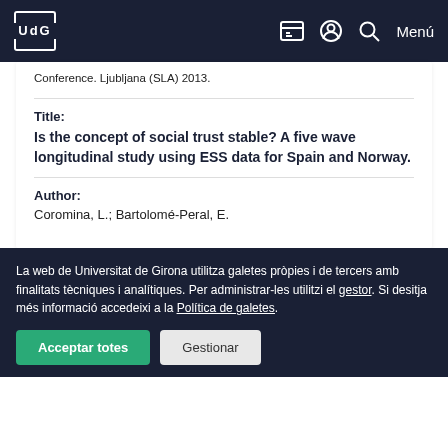UdG — Universitat de Girona navigation bar with logo, icons, and Menú
Conference. Ljubljana (SLA) 2013.
Title:
Is the concept of social trust stable? A five wave longitudinal study using ESS data for Spain and Norway.
Author:
Coromina, L.; Bartolomé-Peral, E.
La web de Universitat de Girona utilitza galetes pròpies i de tercers amb finalitats tècniques i analítiques. Per administrar-les utilitzi el gestor. Si desitja més informació accedeixi a la Política de galetes.
Acceptar totes
Gestionar